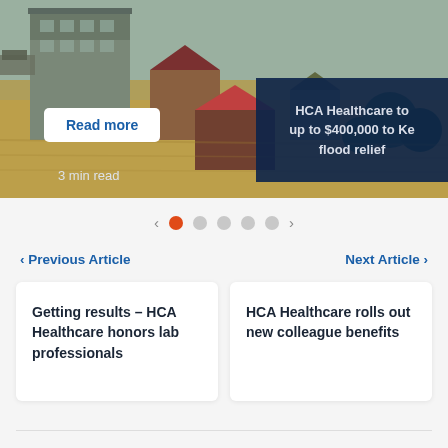[Figure (photo): Aerial view of flooded town with brown floodwater covering streets and buildings]
HCA Healthcare to up to $400,000 to Ke flood relief
Read more
3 min read
‹  ●  ○  ○  ○  ○  ›
‹ Previous Article
Next Article ›
Getting results – HCA Healthcare honors lab professionals
HCA Healthcare rolls out new colleague benefits